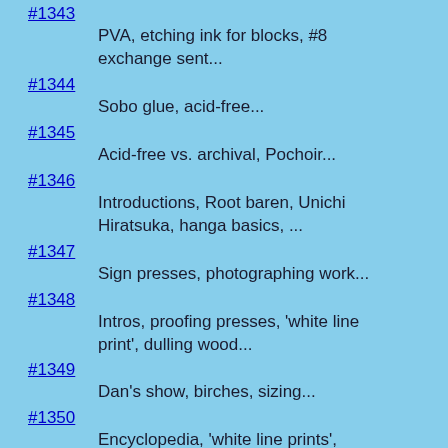#1343
PVA, etching ink for blocks, #8 exchange sent...
#1344
Sobo glue, acid-free...
#1345
Acid-free vs. archival, Pochoir...
#1346
Introductions, Root baren, Unichi Hiratsuka, hanga basics, ...
#1347
Sign presses, photographing work...
#1348
Intros, proofing presses, 'white line print', dulling wood...
#1349
Dan's show, birches, sizing...
#1350
Encyclopedia, 'white line prints', Baren cudos...
#1351
Pochoir, NZ online mag...
#1352
Small presses, bb baren, McClain's, Boden...